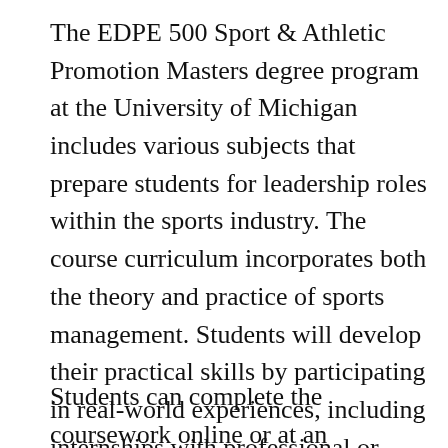The EDPE 500 Sport & Athletic Promotion Masters degree program at the University of Michigan includes various subjects that prepare students for leadership roles within the sports industry. The course curriculum incorporates both the theory and practice of sports management. Students will develop their practical skills by participating in real-world experiences, including internships with professional or college athletics organizations. In addition, this degree program offers an international perspective to students seeking to move into a management role.
Students can complete the coursework online or at an accredited institution. The program is